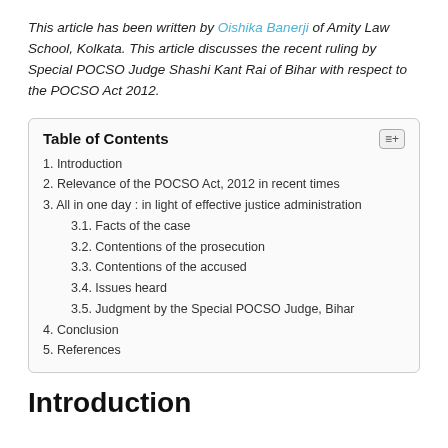This article has been written by Oishika Banerji of Amity Law School, Kolkata. This article discusses the recent ruling by Special POCSO Judge Shashi Kant Rai of Bihar with respect to the POCSO Act 2012.
| Table of Contents |
| --- |
| 1. Introduction |
| 2. Relevance of the POCSO Act, 2012 in recent times |
| 3. All in one day : in light of effective justice administration |
| 3.1. Facts of the case |
| 3.2. Contentions of the prosecution |
| 3.3. Contentions of the accused |
| 3.4. Issues heard |
| 3.5. Judgment by the Special POCSO Judge, Bihar |
| 4. Conclusion |
| 5. References |
Introduction